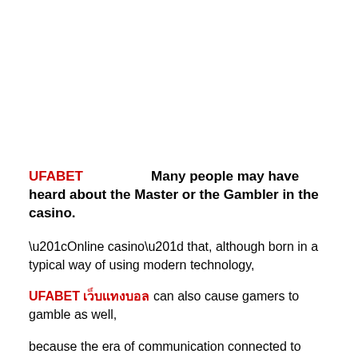UFABET Many people may have heard about the Master or the Gambler in the casino.
“Online casino” that, although born in a typical way of using modern technology,
UFABET เว็บแทงบอล can also cause gamers to gamble as well,
because the era of communication connected to each other at this fingertips contributes to Online community